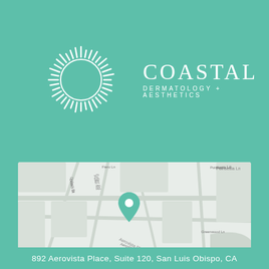[Figure (logo): Coastal Dermatology + Aesthetics logo with sun burst icon and text on teal background]
[Figure (map): Map showing location pin near 892 Aerovista Place, San Luis Obispo, CA with street labels including Fiero Ln, Dulaci St, Fuller Rd, Aerovista Pl, Poinsettia Ln, Greenwood Ln]
892 Aerovista Place, Suite 120, San Luis Obispo, CA